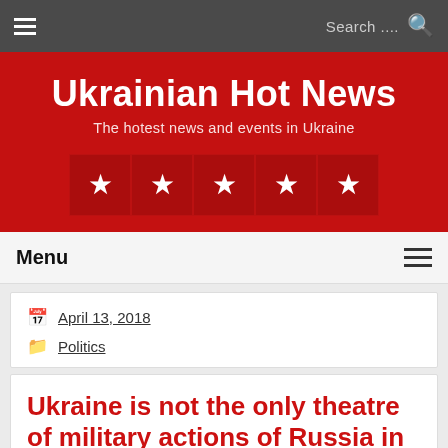≡  Search ...  🔍
Ukrainian Hot News
The hotest news and events in Ukraine
[Figure (other): Five red star boxes in a row forming a rating or decorative element]
Menu
April 13, 2018
Politics
Ukraine is not the only theatre of military actions of Russia in Europe